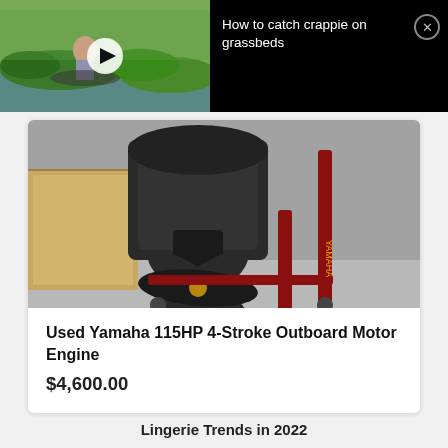[Figure (screenshot): Video thumbnail overlay bar with a fishing scene showing a man on a boat with green vegetation in background, a white play button circle in center, and text 'How to catch crappie on grassbeds' in white on black background, with a circular X close button.]
[Figure (photo): Photo of a used Yamaha 115HP 4-Stroke outboard motor engine mounted on a stand with propeller visible, on a garage/warehouse floor with cardboard box in background.]
Used Yamaha 115HP 4-Stroke Outboard Motor Engine
$4,600.00
Lingerie Trends in 2022